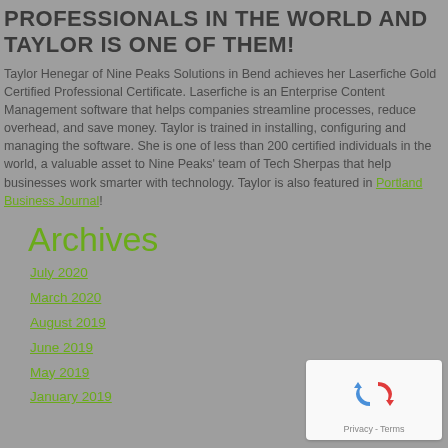PROFESSIONALS IN THE WORLD AND TAYLOR IS ONE OF THEM!
Taylor Henegar of Nine Peaks Solutions in Bend achieves her Laserfiche Gold Certified Professional Certificate. Laserfiche is an Enterprise Content Management software that helps companies streamline processes, reduce overhead, and save money. Taylor is trained in installing, configuring and managing the software. She is one of less than 200 certified individuals in the world, a valuable asset to Nine Peaks' team of Tech Sherpas that help businesses work smarter with technology. Taylor is also featured in Portland Business Journal!
Archives
July 2020
March 2020
August 2019
June 2019
May 2019
January 2019
[Figure (logo): reCAPTCHA badge with Privacy and Terms links]